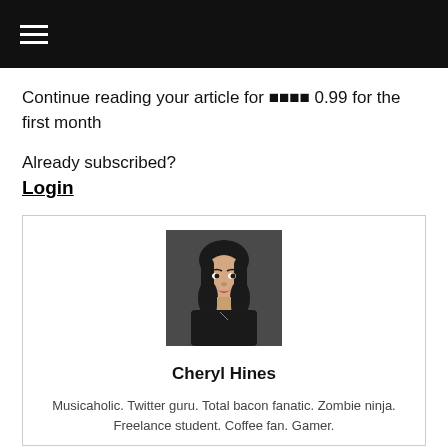☰
Continue reading your article for 🔒🔒🔒🔒 0.99 for the first month
Already subscribed?
Login
[Figure (photo): Portrait photo of Cheryl Hines, a woman with dark hair and red lipstick wearing a dark top]
Cheryl Hines
Musicaholic. Twitter guru. Total bacon fanatic. Zombie ninja. Freelance student. Coffee fan. Gamer.